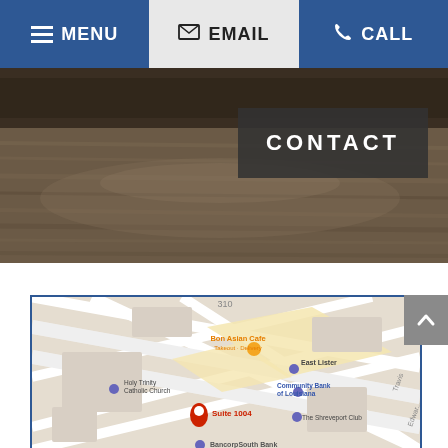MENU | EMAIL | CALL
[Figure (photo): Outdoor photo showing a flooded or wet roadway/parking area with trees in background, dark brown tones]
CONTACT
[Figure (map): Google Maps screenshot showing downtown Shreveport area with markers for Suite 1004, Bon Asian Cafe, East Lister, Community Bank of Louisiana, Holy Trinity Catholic Church, The Shreveport Club, BancorpSouth Bank]